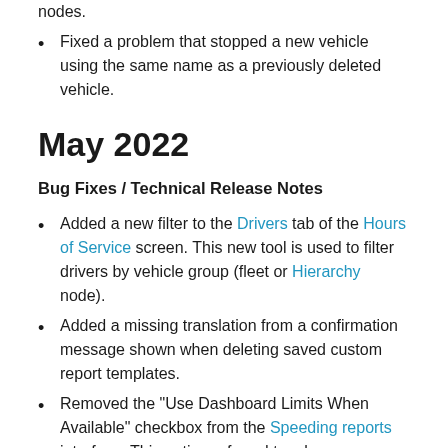nodes.
Fixed a problem that stopped a new vehicle using the same name as a previously deleted vehicle.
May 2022
Bug Fixes / Technical Release Notes
Added a new filter to the Drivers tab of the Hours of Service screen. This new tool is used to filter drivers by vehicle group (fleet or Hierarchy node).
Added a missing translation from a confirmation message shown when deleting saved custom report templates.
Removed the "Use Dashboard Limits When Available" checkbox from the Speeding reports interface. This option referred to a legacy dashboard that no longer affects the report output